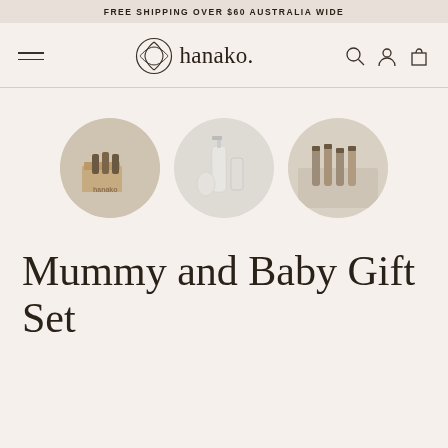FREE SHIPPING OVER $60 AUSTRALIA WIDE
[Figure (logo): Hanako brand logo with decorative leaf/geometric circle icon and handwritten-style 'hanako.' wordmark]
[Figure (photo): Three circular cropped product photos: left shows a Hanako gift box with small brown bottles, center shows white cosmetic bottles/pump bottles, right shows arranged product vials/tubes on neutral fabric]
Mummy and Baby Gift Set